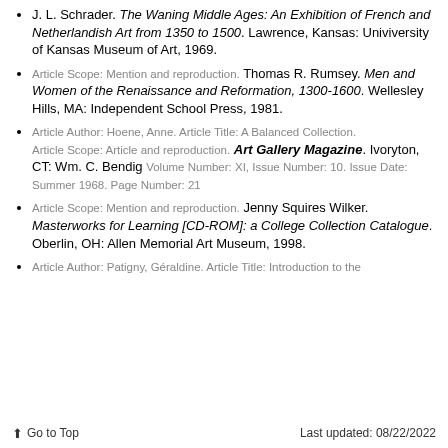J. L. Schrader. The Waning Middle Ages: An Exhibition of French and Netherlandish Art from 1350 to 1500. Lawrence, Kansas: Univiversity of Kansas Museum of Art, 1969.
Article Scope: Mention and reproduction. Thomas R. Rumsey. Men and Women of the Renaissance and Reformation, 1300-1600. Wellesley Hills, MA: Independent School Press, 1981.
Article Author: Hoene, Anne. Article Title: A Balanced Collection. Article Scope: Article and reproduction. Art Gallery Magazine. Ivoryton, CT: Wm. C. Bendig Volume Number: XI, Issue Number: 10. Issue Date: Summer 1968. Page Number: 21
Article Scope: Mention and reproduction. Jenny Squires Wilker. Masterworks for Learning [CD-ROM]: a College Collection Catalogue. Oberlin, OH: Allen Memorial Art Museum, 1998.
Article Author: Patigny, Géraldine. Article Title: Introduction to the
↑ Go to Top     Last updated: 08/22/2022